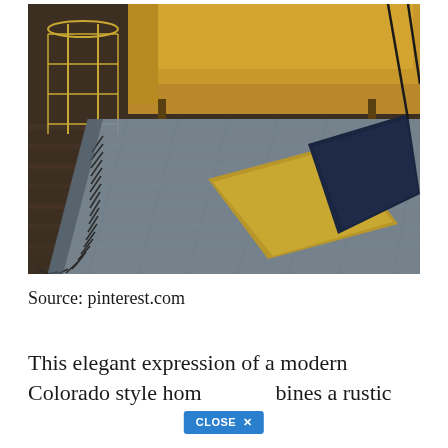[Figure (photo): Interior design photo showing a yellow velvet sofa with yellow and dark navy cushions on a grey textured rug with fringe edges, placed on dark wood flooring. A gold wire side table is visible on the left.]
Source: pinterest.com
This elegant expression of a modern Colorado style home combines a rustic